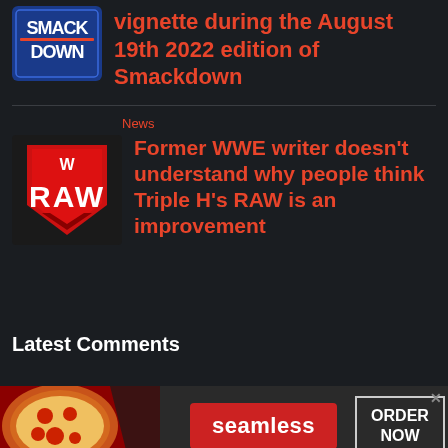vignette during the August 19th 2022 edition of Smackdown
News
Former WWE writer doesn't understand why people think Triple H's RAW is an improvement
Latest Comments
[Figure (screenshot): Seamless food delivery advertisement banner with pizza image, seamless logo button, and ORDER NOW button]